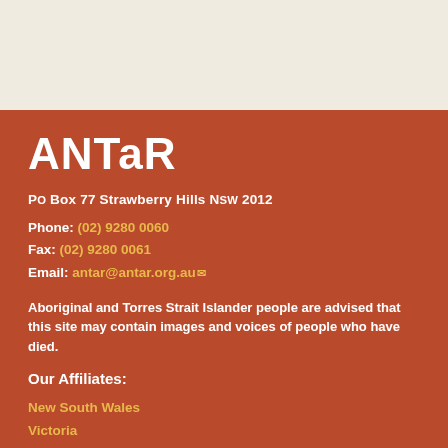[Figure (logo): ANTaR logo in white bold text on terracotta/rust red background]
PO Box 77 Strawberry Hills NSW 2012
Phone: (02) 9280 0060
Fax: (02) 9280 0061
Email: antar@antar.org.au
Aboriginal and Torres Strait Islander people are advised that this site may contain images and voices of people who have died.
Our Affiliates:
New South Wales
Victoria